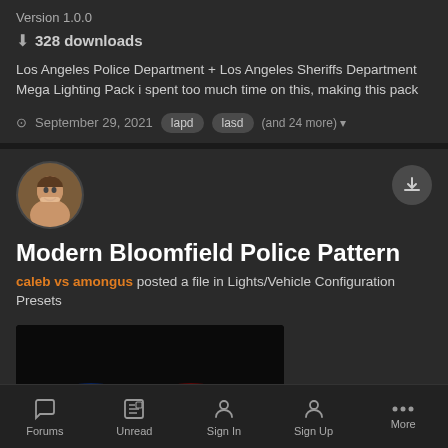Version 1.0.0
328 downloads
Los Angeles Police Department + Los Angeles Sheriffs Department Mega Lighting Pack i spent too much time on this, making this pack
September 29, 2021   lapd   lasd   (and 24 more)
[Figure (photo): User avatar showing a smiling person]
Modern Bloomfield Police Pattern
caleb vs amongus posted a file in Lights/Vehicle Configuration Presets
[Figure (screenshot): Dark screenshot showing police vehicle with blue and red light bars glowing]
Forums   Unread   Sign In   Sign Up   More